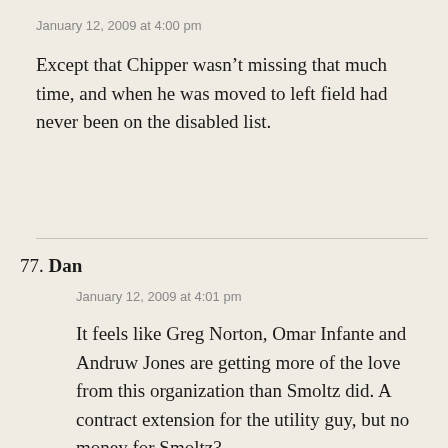January 12, 2009 at 4:00 pm
Except that Chipper wasn’t missing that much time, and when he was moved to left field had never been on the disabled list.
77. Dan
January 12, 2009 at 4:01 pm
It feels like Greg Norton, Omar Infante and Andruw Jones are getting more of the love from this organization than Smoltz did. A contract extension for the utility guy, but no money for Smoltz?